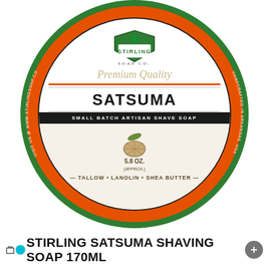[Figure (photo): Top-down view of Stirling Soap Co. Satsuma shaving soap tin. Round lid with green outer ring, orange inner ring, white label center. Label shows Stirling Soap Co. logo at top, 'Premium Quality' in cursive, 'SATSUMA' in large bold text, 'SMALL BATCH ARTISAN SHAVE SOAP' on black band, citrus illustration, '5.8 OZ. (APPROX.)', 'TALLOW • LANOLIN • SHEA BUTTER' around bottom. Side text reads 'VISIT US @ WWW.STIRLINGSOAP.COM' and 'HANDCRAFTED IN ARKANSAS, USA'.]
STIRLING SATSUMA SHAVING SOAP 170ML